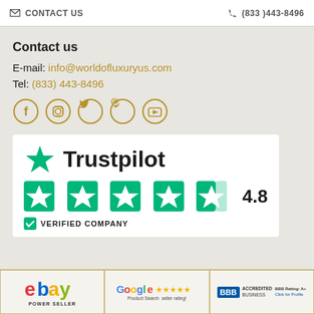✉ CONTACT US   ☎ (833)443-8496
Contact us
E-mail: info@worldofluxuryus.com
Tel: (833) 443-8496
[Figure (illustration): Five social media icons in gold circles: Facebook, Instagram, Twitter, Pinterest, YouTube]
[Figure (logo): Trustpilot logo with green star, rated 4.8, five green star boxes, and VERIFIED COMPANY badge]
[Figure (logo): Bottom strip with three logos: eBay Power Seller, Google Product Search seller rating with stars, BBB Accredited Business A+ rating]